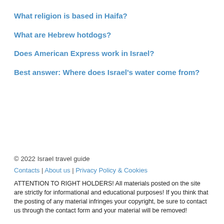What religion is based in Haifa?
What are Hebrew hotdogs?
Does American Express work in Israel?
Best answer: Where does Israel's water come from?
© 2022 Israel travel guide
Contacts | About us | Privacy Policy & Cookies
ATTENTION TO RIGHT HOLDERS! All materials posted on the site are strictly for informational and educational purposes! If you think that the posting of any material infringes your copyright, be sure to contact us through the contact form and your material will be removed!